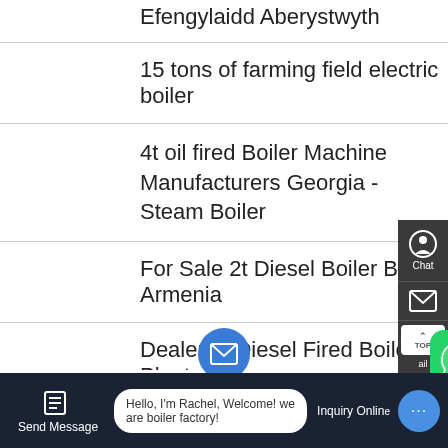Efengylaidd Aberystwyth
15 tons of farming field electric boiler
4t oil fired Boiler Machine Manufacturers Georgia - Steam Boiler
For Sale 2t Diesel Boiler Brand Armenia
Dealer 2t Diesel Fired Boiler Plant
3 5 Mw Methane Boiler In Denmark
Quick links
Hello, I'm Rachel, Welcome! we are boiler factory!
Send Message    Inquiry Online